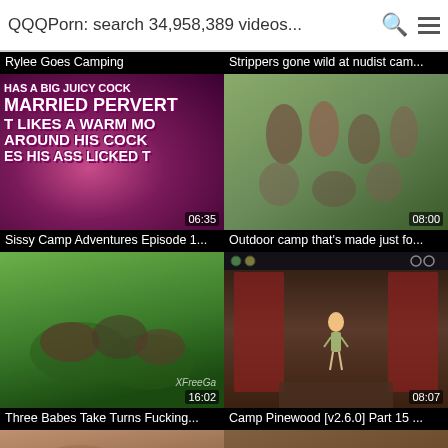QQQPorn: search 34,958,389 videos...
[Figure (screenshot): Video thumbnail with pink/purple background and text 'HAS A BIG JUICY COCK MARRIED PERVERT LIKES A WARM MO AROUND HIS COCK ES HIS ASS LICKED T']
Rylee Goes Camping
[Figure (screenshot): Outdoor group scene video thumbnail]
Strippers gone wild at nudist cam...
[Figure (screenshot): Outdoor grass scene with people lying down]
Sissy Camp Adventures Episode 1...
[Figure (screenshot): Animated game scene showing a room with red curtains and a cartoon character]
Outdoor camp that's made just fo...
Three Babes Take Turns Fucking...
Camp Pinewood [v2.6.0] Part 15 ...